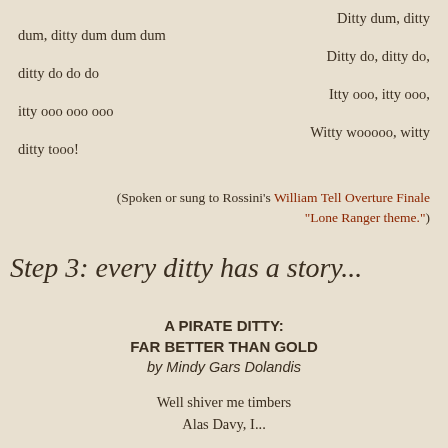Ditty dum, ditty dum, ditty dum dum dum
Ditty do, ditty do, ditty do do do
Itty ooo, itty ooo, itty ooo ooo ooo
Witty wooooo, witty ditty tooo!
(Spoken or sung to Rossini's William Tell Overture Finale "Lone Ranger theme.")
Step 3: every ditty has a story...
A PIRATE DITTY:
FAR BETTER THAN GOLD
by Mindy Gars Dolandis
Well shiver me timbers
Alas Davy, I...